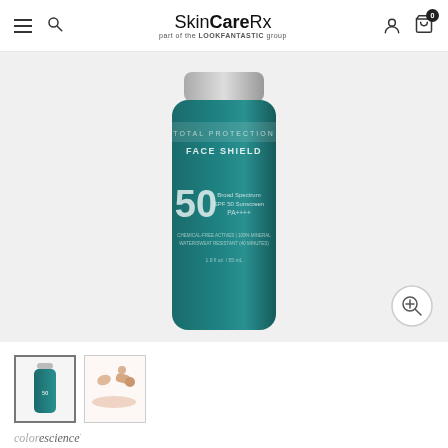SkinCareRx part of the LOOKFANTASTIC group
[Figure (photo): Teal/dark green cylindrical bottle of Colorescience Sunforgettable Total Protection Face Shield SPF 50 PA+++ sunscreen, showing FACE SHIELD label and product details including Broad Spectrum SPF 50 Sunscreen PA+++ text, chemical-free actives 100% mineral, water/sweat resistant 40 minutes, 1.8 fl oz / 55 mL]
[Figure (photo): Thumbnail 1: Small image of the teal Colorescience bottle]
[Figure (photo): Thumbnail 2: Swatch image showing product texture/color swatches on white background]
colorescience·
COLORESCIENCE SUNFORGETTABLE TOTAL PROTECTION FACE SHIELD SPF50 (PA+++) 55ML